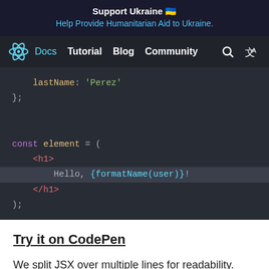Support Ukraine 🇺🇦
Help Provide Humanitarian Aid to Ukraine.
Docs  Tutorial  Blog  Community
[Figure (screenshot): Code snippet showing JSX: lastName: 'Perez' }; const element = ( <h1> Hello, {formatName(user)}! </h1> );]
Try it on CodePen
We split JSX over multiple lines for readability. While isn't required, when doing this, we also recommend wrapping it in parentheses to avoid the pitfalls of